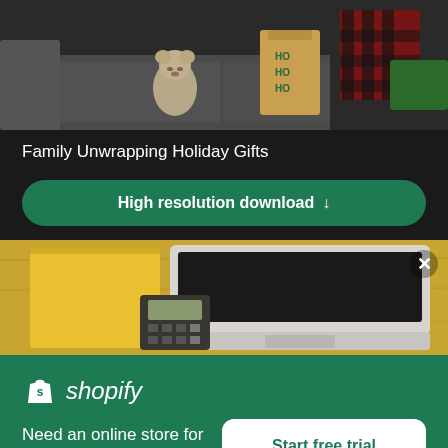[Figure (photo): Photo of a family unwrapping holiday gifts near a sofa, with a teddy bear and a gift bag visible]
Family Unwrapping Holiday Gifts
High resolution download ↓
[Figure (photo): Photo of a laptop, yellow notepad, and calculator on a wooden desk — workspace/business flatlay]
Need an online store for your business?
Start free trial